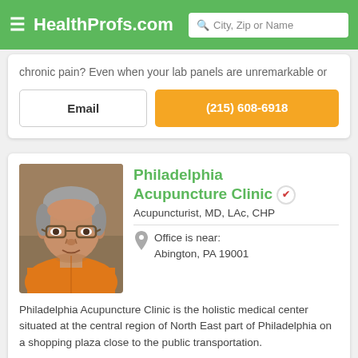HealthProfs.com
chronic pain? Even when your lab panels are unremarkable or
Email
(215) 608-6918
Philadelphia Acupuncture Clinic
Acupuncturist, MD, LAc, CHP
Office is near: Abington, PA 19001
[Figure (photo): Photo of a middle-aged man with gray hair, glasses, wearing an orange shirt, seated in what appears to be a medical office.]
Philadelphia Acupuncture Clinic is the holistic medical center situated at the central region of North East part of Philadelphia on a shopping plaza close to the public transportation.
Email
(267) 403-3085